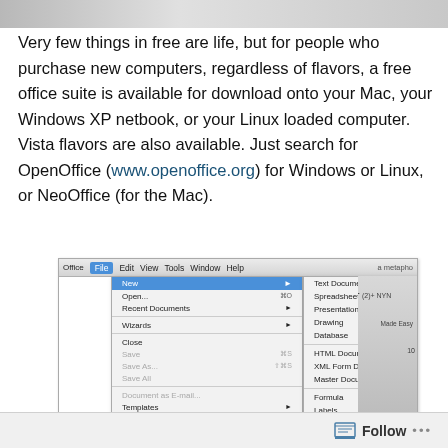[Figure (photo): Partial top image, cropped, showing gray background]
Very few things in free are life, but for people who purchase new computers, regardless of flavors, a free office suite is available for download onto your Mac, your Windows XP netbook, or your Linux loaded computer. Vista flavors are also available. Just search for OpenOffice (www.openoffice.org) for Windows or Linux, or NeoOffice (for the Mac).
[Figure (screenshot): Screenshot of OpenOffice application showing File menu expanded with New submenu open, displaying options: Text Document, Spreadsheet, Presentation, Drawing, Database, HTML Document, XML Form Document, Master Document, Formula, Labels, Business Cards, Templates and Documents]
Follow